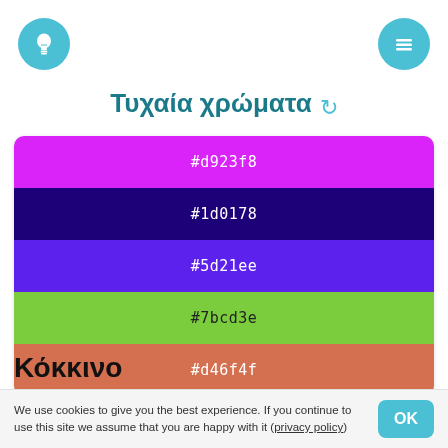[Figure (illustration): Light bulb icon in a teal/cyan circle, top left]
[Figure (illustration): Hamburger menu icon in a teal/cyan circle, top right]
Τυχαία χρώματα ↻
[Figure (infographic): Color palette with 5 rows: #d923f8 (magenta), #1d0178 (dark navy), #5d21ee (purple), #7bcd3e (green), #d46f4f (terracotta)]
Κόκκινο
[Figure (infographic): Partial color palette row with #512d21 (dark brown)]
We use cookies to give you the best experience. If you continue to use this site we assume that you are happy with it (privacy policy)